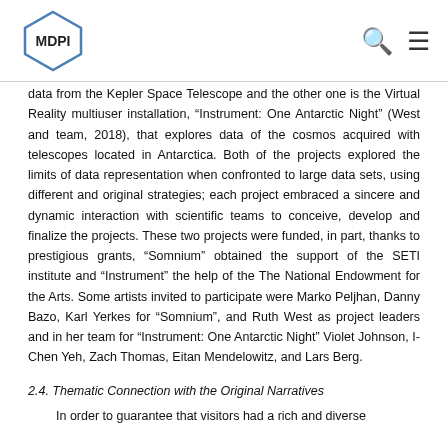MDPI
data from the Kepler Space Telescope and the other one is the Virtual Reality multiuser installation, “Instrument: One Antarctic Night” (West and team, 2018), that explores data of the cosmos acquired with telescopes located in Antarctica. Both of the projects explored the limits of data representation when confronted to large data sets, using different and original strategies; each project embraced a sincere and dynamic interaction with scientific teams to conceive, develop and finalize the projects. These two projects were funded, in part, thanks to prestigious grants, “Somnium” obtained the support of the SETI institute and “Instrument” the help of the The National Endowment for the Arts. Some artists invited to participate were Marko Peljhan, Danny Bazo, Karl Yerkes for “Somnium”, and Ruth West as project leaders and in her team for “Instrument: One Antarctic Night” Violet Johnson, I-Chen Yeh, Zach Thomas, Eitan Mendelowitz, and Lars Berg.
2.4. Thematic Connection with the Original Narratives
In order to guarantee that visitors had a rich and diverse